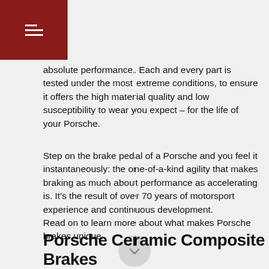Menu
absolute performance. Each and every part is tested under the most extreme conditions, to ensure it offers the high material quality and low susceptibility to wear you expect – for the life of your Porsche.
Step on the brake pedal of a Porsche and you feel it instantaneously: the one-of-a-kind agility that makes braking as much about performance as accelerating is. It's the result of over 70 years of motorsport experience and continuous development.
Read on to learn more about what makes Porsche brakes unique.
Porsche Ceramic Composite Brakes